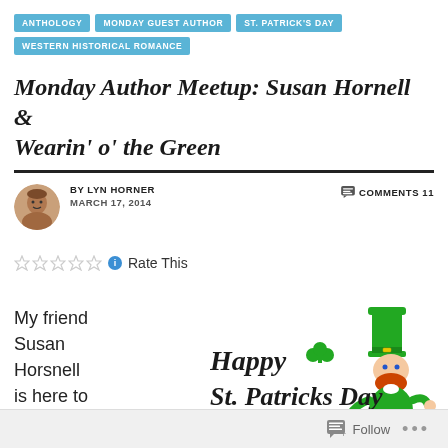ANTHOLOGY | MONDAY GUEST AUTHOR | ST. PATRICK'S DAY | WESTERN HISTORICAL ROMANCE
Monday Author Meetup: Susan Hornell & Wearin' o' the Green
BY LYN HORNER | MARCH 17, 2014 | COMMENTS 11
Rate This
My friend Susan Horsnell is here to celebrate
[Figure (illustration): Happy St. Patricks Day text with shamrock and leprechaun illustration with pot of gold]
Follow ...